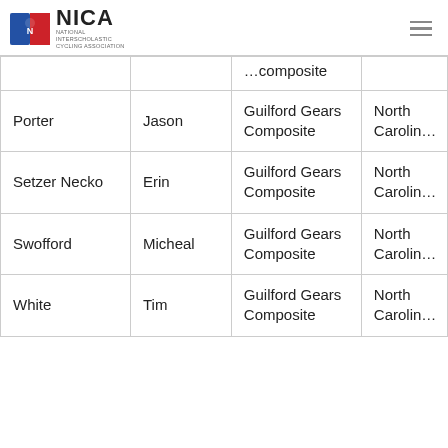NICA - National Interscholastic Cycling Association
| Last Name | First Name | Team | State |
| --- | --- | --- | --- |
|  |  | …composite |  |
| Porter | Jason | Guilford Gears Composite | North Carolina |
| Setzer Necko | Erin | Guilford Gears Composite | North Carolina |
| Swofford | Micheal | Guilford Gears Composite | North Carolina |
| White | Tim | Guilford Gears Composite | North Carolina |